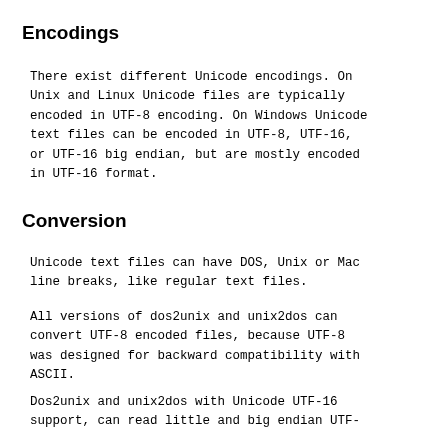Encodings
There exist different Unicode encodings. On Unix and Linux Unicode files are typically encoded in UTF-8 encoding. On Windows Unicode text files can be encoded in UTF-8, UTF-16, or UTF-16 big endian, but are mostly encoded in UTF-16 format.
Conversion
Unicode text files can have DOS, Unix or Mac line breaks, like regular text files.
All versions of dos2unix and unix2dos can convert UTF-8 encoded files, because UTF-8 was designed for backward compatibility with ASCII.
Dos2unix and unix2dos with Unicode UTF-16 support, can read little and big endian UTF-